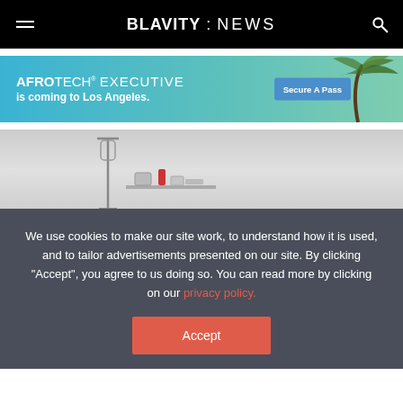BLAVITY : NEWS
[Figure (illustration): AfroTech Executive is coming to Los Angeles advertisement banner with palm tree background and Secure A Pass button]
[Figure (photo): Hospital or medical setting with IV stand and medical equipment on a table against a grey background]
We use cookies to make our site work, to understand how it is used, and to tailor advertisements presented on our site. By clicking "Accept", you agree to us doing so. You can read more by clicking on our privacy policy.
Accept